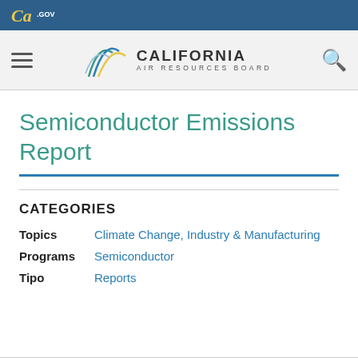CA.GOV
[Figure (logo): California Air Resources Board logo with CARB arc graphic and CA.GOV bar]
Semiconductor Emissions Report
CATEGORIES
Topics   Climate Change, Industry & Manufacturing
Programs   Semiconductor
Tipo   Reports